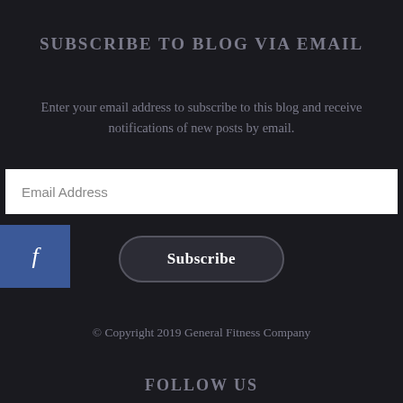SUBSCRIBE TO BLOG VIA EMAIL
Enter your email address to subscribe to this blog and receive notifications of new posts by email.
Email Address
[Figure (logo): Facebook logo button — blue square with white italic f]
Subscribe
© Copyright 2019 General Fitness Company
FOLLOW US